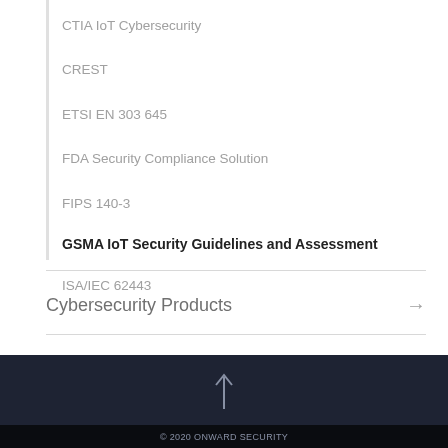CTIA IoT Cybersecurity
CREST
ETSI EN 303 645
FDA Security Compliance Solution
FIPS 140-3
GSMA IoT Security Guidelines and Assessment
ISA/IEC 62443
Cybersecurity Products
© 2020 ONWARD SECURITY